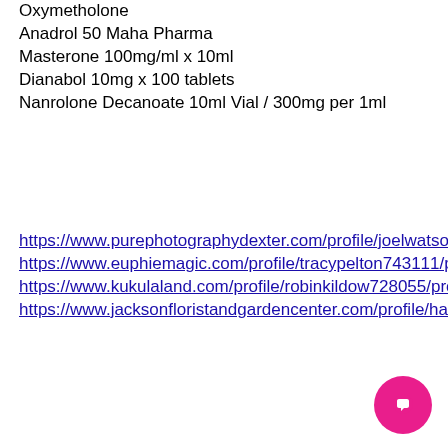Oxymetholone
Anadrol 50 Maha Pharma
Masterone 100mg/ml x 10ml
Dianabol 10mg x 100 tablets
Nanrolone Decanoate 10ml Vial / 300mg per 1ml
https://www.purephotographydexter.com/profile/joelwatson237684/profile https://www.euphiemagic.com/profile/tracypelton743111/profile https://www.kukulaland.com/profile/robinkildow728055/profile https://www.jacksonfloristandgardencenter.com/profile/haydenarildsen531740/profile
[Figure (other): Pink circular chat button with speech bubble icon]